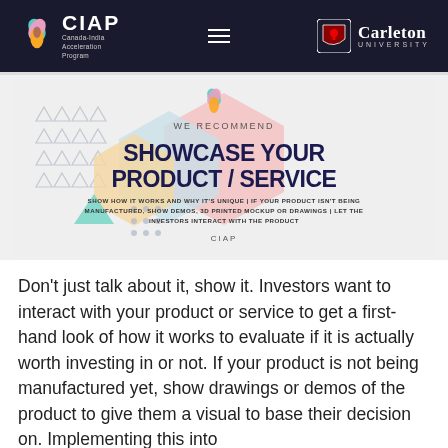CIAP Canada-India Acceleration Program | Carleton University
[Figure (infographic): CIAP infographic card with hexagonal shapes, triangle patterns, and dot patterns. Text: WE RECOMMEND / SHOWCASE YOUR PRODUCT / SERVICE / SHOW HOW IT WORKS AND WHY IT'S UNIQUE | IF YOUR PRODUCT ISN'T BEING MANUFACTURED, SHOW DEMOS, 3D PRINTED MOCKUP OR DRAWINGS | LET THE INVESTORS INTERACT WITH THE PRODUCT / CIAP]
Don't just talk about it, show it. Investors want to interact with your product or service to get a first-hand look of how it works to evaluate if it is actually worth investing in or not. If your product is not being manufactured yet, show drawings or demos of the product to give them a visual to base their decision on. Implementing this into